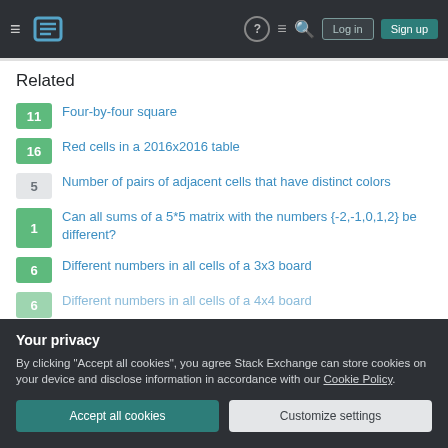Stack Exchange navigation header with Log in and Sign up buttons
Related
11  Four-by-four square
16  Red cells in a 2016x2016 table
5  Number of pairs of adjacent cells that have distinct colors
1  Can all sums of a 5*5 matrix with the numbers {-2,-1,0,1,2} be different?
6  Different numbers in all cells of a 3x3 board
6  Different numbers in all cells of a 4x4 board
Your privacy
By clicking "Accept all cookies", you agree Stack Exchange can store cookies on your device and disclose information in accordance with our Cookie Policy.
Accept all cookies  Customize settings